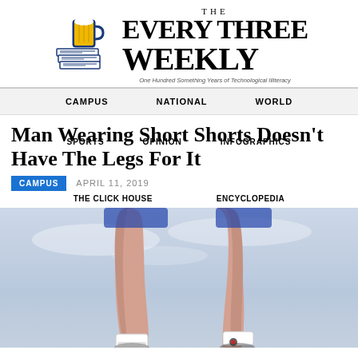[Figure (logo): The Every Three Weekly newspaper logo with beer mug and stacked newspapers illustration]
THE EVERY THREE WEEKLY
One Hundred Something Years of Technological Illiteracy
CAMPUS   NATIONAL   WORLD
Man Wearing Short Shorts Doesn’t Have The Legs For It
SPORTS   OPINION   INFOGRAPHICS
CAMPUS   APRIL 11, 2019
THE CLICK HOUSE   ENCYCLOPEDIA
[Figure (photo): Photo of a man's bare legs wearing short shorts, white socks and shoes, standing against a light sky background]